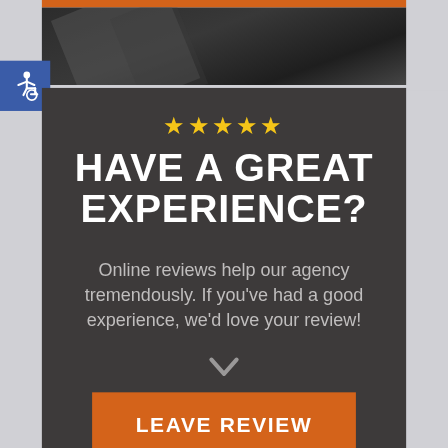[Figure (screenshot): Top dark banner area with orange bar and dark photo background with diagonal shapes, plus blue accessibility wheelchair icon in top-left corner]
HAVE A GREAT EXPERIENCE?
Online reviews help our agency tremendously. If you've had a good experience, we'd love your review!
[Figure (illustration): Gray downward-pointing chevron/arrow icon]
LEAVE REVIEW